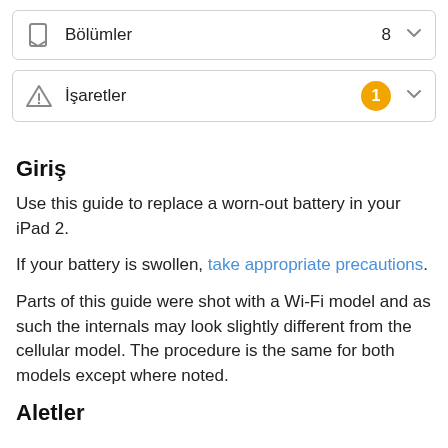Bölümler  8
İşaretler  1
Giriş
Use this guide to replace a worn-out battery in your iPad 2.
If your battery is swollen, take appropriate precautions.
Parts of this guide were shot with a Wi-Fi model and as such the internals may look slightly different from the cellular model. The procedure is the same for both models except where noted.
Aletler